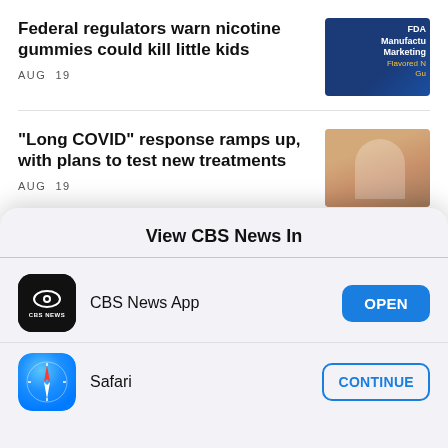Federal regulators warn nicotine gummies could kill little kids
AUG 19
[Figure (photo): Blue FDA document cover with text about nicotine gummies, Manufactured Marketing, Flavored Nicotine Gummies]
"Long COVID" response ramps up, with plans to test new treatments
AUG 19
[Figure (photo): Medical image showing hands, one person wearing a watch, medical examination context]
View CBS News In
[Figure (logo): CBS News App icon — black rounded square with CBS eye logo and CBS NEWS text]
CBS News App
OPEN
[Figure (logo): Safari browser icon — blue compass gradient circle with red and white compass needle]
Safari
CONTINUE